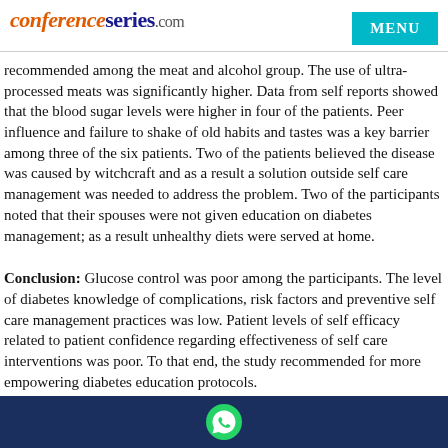conferenceseries.com  MENU
recommended among the meat and alcohol group. The use of ultra-processed meats was significantly higher. Data from self reports showed that the blood sugar levels were higher in four of the patients. Peer influence and failure to shake of old habits and tastes was a key barrier among three of the six patients. Two of the patients believed the disease was caused by witchcraft and as a result a solution outside self care management was needed to address the problem. Two of the participants noted that their spouses were not given education on diabetes management; as a result unhealthy diets were served at home.
Conclusion: Glucose control was poor among the participants. The level of diabetes knowledge of complications, risk factors and preventive self care management practices was low. Patient levels of self efficacy related to patient confidence regarding effectiveness of self care interventions was poor. To that end, the study recommended for more empowering diabetes education protocols.